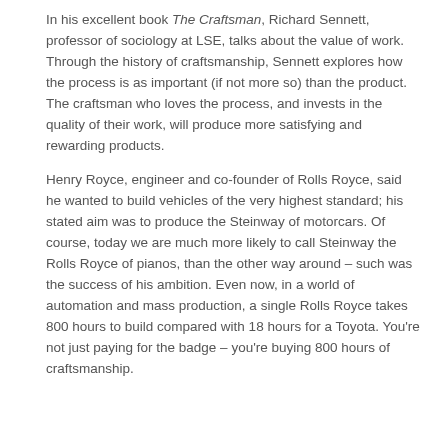In his excellent book The Craftsman, Richard Sennett, professor of sociology at LSE, talks about the value of work. Through the history of craftsmanship, Sennett explores how the process is as important (if not more so) than the product. The craftsman who loves the process, and invests in the quality of their work, will produce more satisfying and rewarding products.
Henry Royce, engineer and co-founder of Rolls Royce, said he wanted to build vehicles of the very highest standard; his stated aim was to produce the Steinway of motorcars. Of course, today we are much more likely to call Steinway the Rolls Royce of pianos, than the other way around – such was the success of his ambition. Even now, in a world of automation and mass production, a single Rolls Royce takes 800 hours to build compared with 18 hours for a Toyota. You're not just paying for the badge – you're buying 800 hours of craftsmanship.